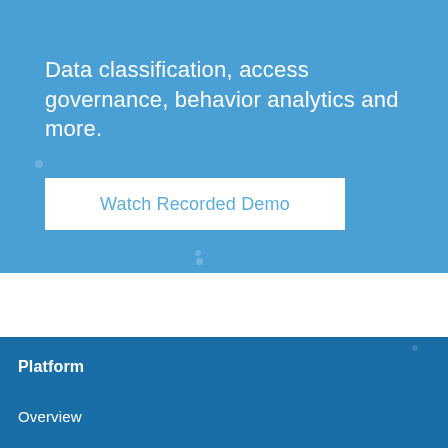Data classification, access governance, behavior analytics and more.
[Figure (other): White button/CTA box with text 'Watch Recorded Demo' on blue background]
Platform
Overview